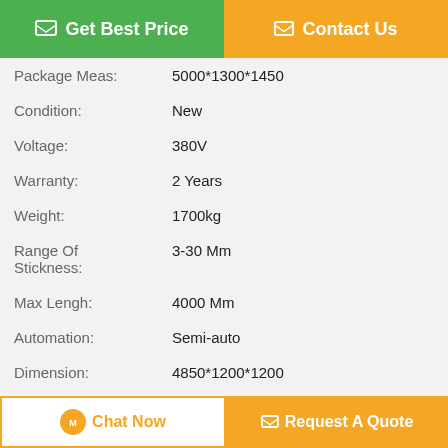[Figure (other): Top navigation buttons: green 'Get Best Price' button and orange 'Contact Us' button]
| Package Meas: | 5000*1300*1450 |
| Condition: | New |
| Voltage: | 380V |
| Warranty: | 2 Years |
| Weight: | 1700kg |
| Range Of Stickness: | 3-30 Mm |
| Max Lengh: | 4000 Mm |
| Automation: | Semi-auto |
| Dimension: | 4850*1200*1200 |
| Function: | Rolling And Welding |
SWT - PH4000 Automatic Smart Operation Plastic Sheet Butt Fusion Welding Machine Packaging & Delivery: Selling Units:Single item Single package size:500*130*145 cm Single gross weight:1700 kg Package Type...
[Figure (other): Bottom navigation buttons: white 'Chat Now' button and orange 'Request A Quote' button]